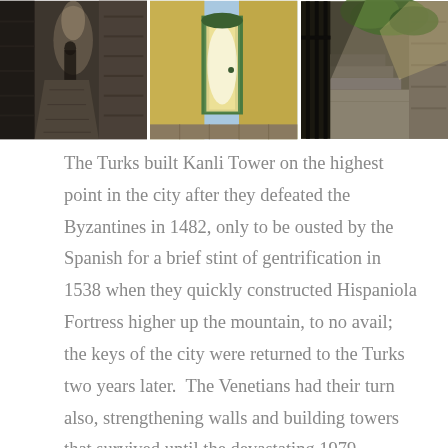[Figure (photo): Three side-by-side photographs of narrow stone alleyways and passages in what appears to be an old Mediterranean or Balkan town. Left photo shows a dark cobblestone alley between stone walls. Center photo shows a bright doorway/arch with yellow-painted walls. Right photo shows a partially shaded stone stairway passage with greenery.]
The Turks built Kanli Tower on the highest point in the city after they defeated the Byzantines in 1482, only to be ousted by the Spanish for a brief stint of gentrification in 1538 when they quickly constructed Hispaniola Fortress higher up the mountain, to no avail; the keys of the city were returned to the Turks two years later.  The Venetians had their turn also, strengthening walls and building towers that survived until the devastating 1979 earthquake.  Its turbulent history also included the Austrian, Russian, French and Germans, all battling for beach chairs along the Herceg-Novi riviera.  Fortunately, the communists didn't see the need to impose their minimalistic architecture on such a beautiful swath of earth and left it alone.  The people of the communist block